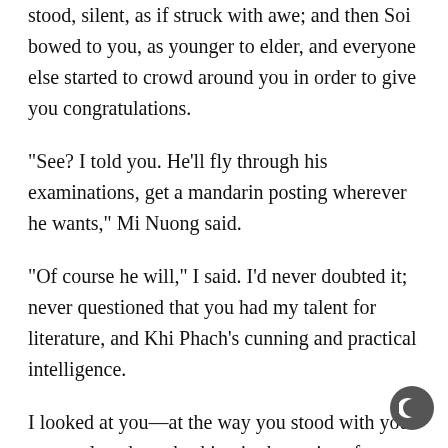stood, silent, as if struck with awe; and then Soi bowed to you, as younger to elder, and everyone else started to crowd around you in order to give you congratulations.
“See? I told you. He’ll fly through his examinations, get a mandarin posting wherever he wants,” Mi Nuong said.
“Of course he will,” I said. I’d never doubted it; never questioned that you had my talent for literature, and Khi Phach’s cunning and practical intelligence.
I looked at you—at the way you stood with your arms splayed out, basking in the praise of scholars; at your face still flushed with the declaiming of poetry—and you looked back at me, and saw me sitting with your sister by my side; and your face darkened in that moment, became so